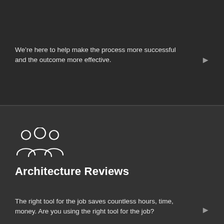We’re here to help make the process more successful and the outcome more effective.
[Figure (illustration): Group of people / team icon (outline style, three person silhouettes)]
Architecture Reviews
The right tool for the job saves countless hours, time, money. Are you using the right tool for the job?